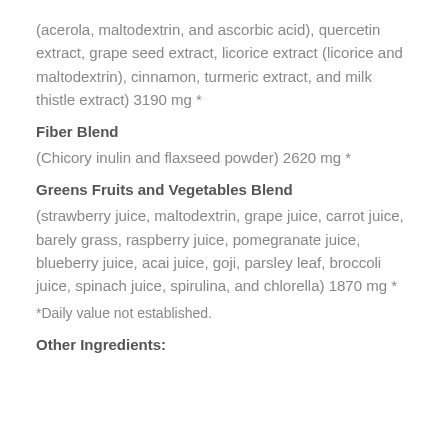(acerola, maltodextrin, and ascorbic acid), quercetin extract, grape seed extract, licorice extract (licorice and maltodextrin), cinnamon, turmeric extract, and milk thistle extract) 3190 mg *
Fiber Blend
(Chicory inulin and flaxseed powder) 2620 mg *
Greens Fruits and Vegetables Blend
(strawberry juice, maltodextrin, grape juice, carrot juice, barely grass, raspberry juice, pomegranate juice, blueberry juice, acai juice, goji, parsley leaf, broccoli juice, spinach juice, spirulina, and chlorella) 1870 mg *
*Daily value not established.
Other Ingredients: